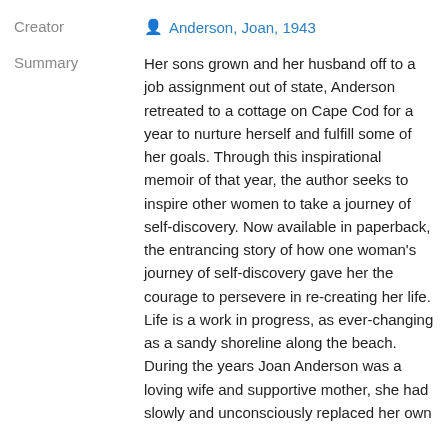Creator
Anderson, Joan, 1943
Summary
Her sons grown and her husband off to a job assignment out of state, Anderson retreated to a cottage on Cape Cod for a year to nurture herself and fulfill some of her goals. Through this inspirational memoir of that year, the author seeks to inspire other women to take a journey of self-discovery. Now available in paperback, the entrancing story of how one woman's journey of self-discovery gave her the courage to persevere in re-creating her life. Life is a work in progress, as ever-changing as a sandy shoreline along the beach. During the years Joan Anderson was a loving wife and supportive mother, she had slowly and unconsciously replaced her own